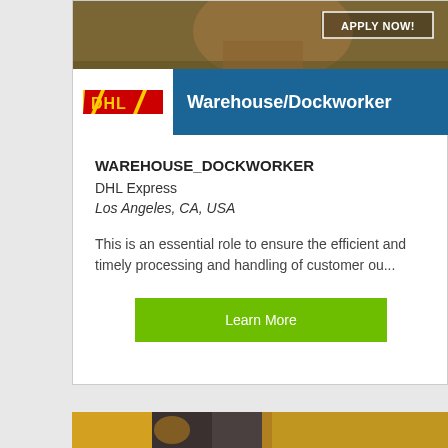[Figure (photo): DHL Express worker in uniform at top of job listing card]
Warehouse/Dockworker
WAREHOUSE_DOCKWORKER
DHL Express
Los Angeles, CA, USA
This is an essential role to ensure the efficient and timely processing and handling of customer ou...
Learn More
[Figure (photo): DHL Express worker standing near yellow DHL delivery vans]